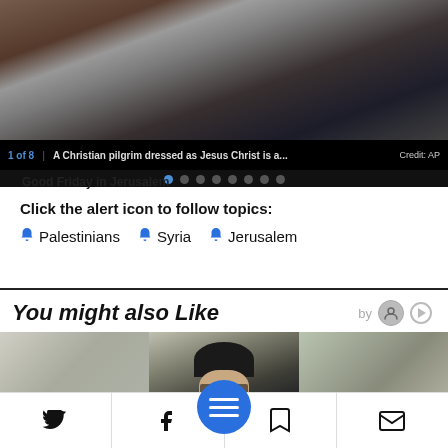[Figure (photo): Slideshow image showing a Christian pilgrim dressed as Jesus Christ, surrounded by people with cameras. Caption bar shows '1 of 8' with text 'A Christian pilgrim dressed as Jesus Christ is a...' Credit: AP. Eight navigation dots shown below with first dot active.]
Good Friday in Jerusalem
Click the alert icon to follow topics:
🔔 Palestinians
🔔 Syria
🔔 Jerusalem
You might also Like
[Figure (photo): Three article thumbnail images in a horizontal strip below the 'You might also Like' heading. Left shows a building exterior with trees, center shows a person in dark clothing/hat with glasses, right shows a building with bare trees.]